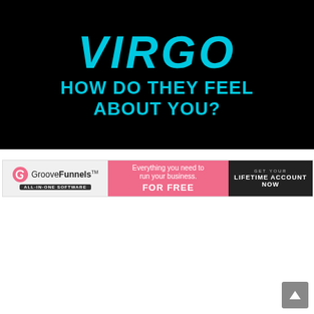[Figure (illustration): Black background image with cyan/teal decorative text reading 'VIRGO' in large bold italic letters, followed by 'HOW DO THEY FEEL ABOUT YOU?' in bold uppercase text]
[Figure (screenshot): GrooveFunnels advertisement banner. Left section: GrooveFunnels logo with tagline 'ALL-IN-ONE SOFTWARE'. Middle pink section: 'Everything you need to run your business. FOR FREE'. Right dark section: 'GET YOUR LIFETIME ACCOUNT NOW']